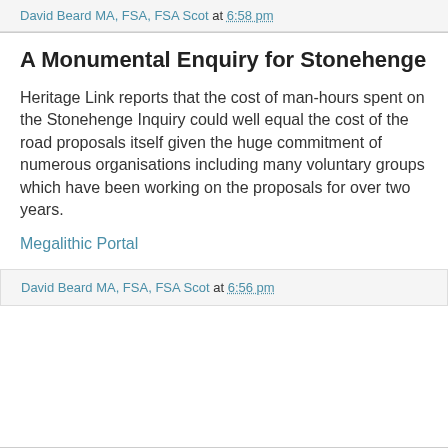David Beard MA, FSA, FSA Scot at 6:58 pm
A Monumental Enquiry for Stonehenge
Heritage Link reports that the cost of man-hours spent on the Stonehenge Inquiry could well equal the cost of the road proposals itself given the huge commitment of numerous organisations including many voluntary groups which have been working on the proposals for over two years.
Megalithic Portal
David Beard MA, FSA, FSA Scot at 6:56 pm